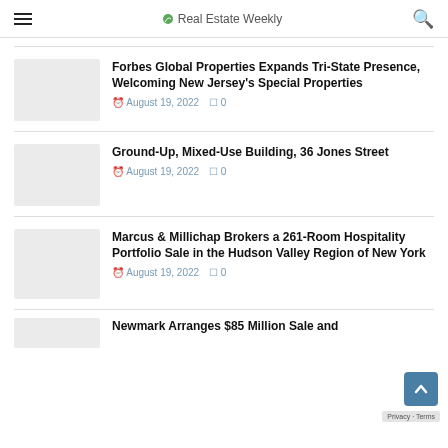Real Estate Weekly
Forbes Global Properties Expands Tri-State Presence, Welcoming New Jersey's Special Properties
August 19, 2022  0
Ground-Up, Mixed-Use Building, 36 Jones Street
August 19, 2022  0
Marcus & Millichap Brokers a 261-Room Hospitality Portfolio Sale in the Hudson Valley Region of New York
August 19, 2022  0
Newmark Arranges $85 Million Sale and